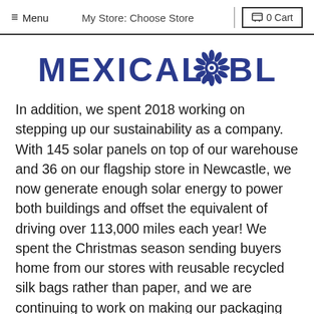≡ Menu  My Store: Choose Store  🛒 0 Cart
[Figure (logo): Mexicali Blues logo with decorative floral/sun icon in navy blue]
In addition, we spent 2018 working on stepping up our sustainability as a company.  With 145 solar panels on top of our warehouse and 36 on our flagship store in Newcastle, we now generate enough solar energy to power both buildings and offset the equivalent of driving over 113,000 miles each year! We spent the Christmas season sending buyers home from our stores with reusable recycled silk bags rather than paper, and we are continuing to work on making our packaging for online orders increasingly environmentally friendly. This is still a process, but it feels good to better align...